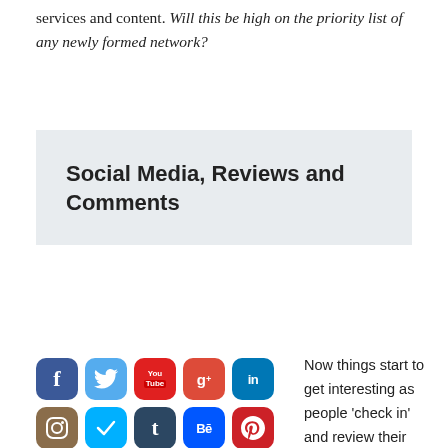services and content. Will this be high on the priority list of any newly formed network?
Social Media, Reviews and Comments
[Figure (illustration): Grid of social media app icons: Facebook, Twitter, YouTube, Google+, LinkedIn, Instagram, Wechat, Tumblr, Behance, Pinterest, Myspace, Vine, Badoo, emoticon, popsicle, and more icons in rows of five]
Now things start to get interesting as people 'check in' and review their experience using tools like Facebook,